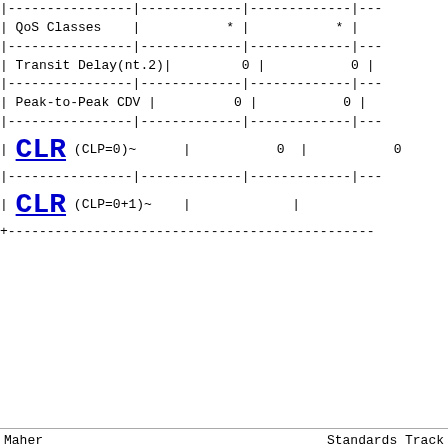| Parameter | Col1 | Col2 |
| --- | --- | --- |
| QoS Classes | * | * |
| Transit Delay(nt.2) | 0 | 0 |
| Peak-to-Peak CDV | 0 | 0 |
| CLR (CLP=0)~ | 0 | 0 |
| CLR (CLP=0+1)~ |  |  |
Maher                          Standards Track